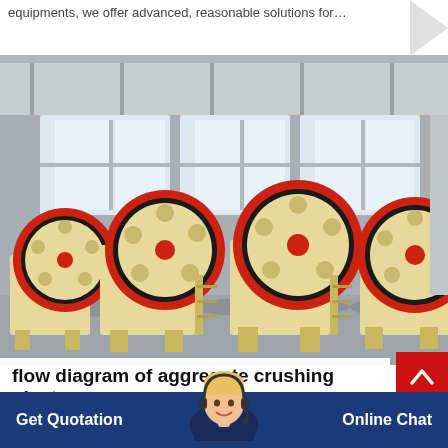equipments, we offer advanced, reasonable solutions for...
[Figure (photo): Row of industrial jaw crusher machines with red and cream-colored flywheels lined up in a warehouse/factory setting with large windows in the background.]
flow diagram of aggregate crushing plant
Get Quotation
Online Chat